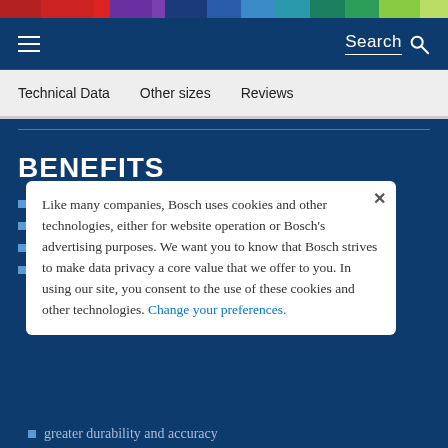[Figure (other): Colorful horizontal bar with segments in red, crimson, purple, dark blue, steel blue, sky blue, teal, dark teal, green, and light green]
Search
Technical Data  Other sizes  Reviews
BENEFITS
Like many companies, Bosch uses cookies and other technologies, either for website operation or Bosch's advertising purposes. We want you to know that Bosch strives to make data privacy a core value that we offer to you. In using our site, you consent to the use of these cookies and other technologies. Change your preferences.
greater durability and accuracy